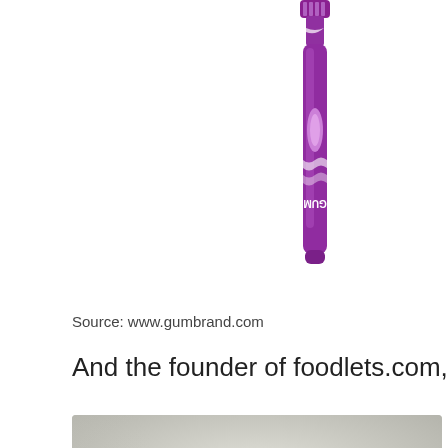[Figure (photo): A purple GUM brand toothbrush handle shown vertically against a white background]
Source: www.gumbrand.com
And the founder of foodlets.com, a blog.
[Figure (photo): A plate of colorful food including yellow corn, black beans, red tomatoes and other vegetables, blurred/bokeh style food photography]